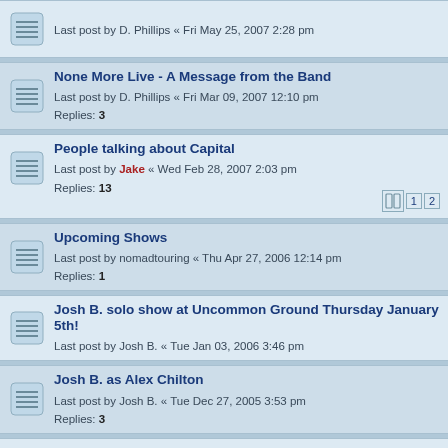Last post by D. Phillips « Fri May 25, 2007 2:28 pm
None More Live - A Message from the Band
Last post by D. Phillips « Fri Mar 09, 2007 12:10 pm
Replies: 3
People talking about Capital
Last post by Jake « Wed Feb 28, 2007 2:03 pm
Replies: 13
Upcoming Shows
Last post by nomadtouring « Thu Apr 27, 2006 12:14 pm
Replies: 1
Josh B. solo show at Uncommon Ground Thursday January 5th!
Last post by Josh B. « Tue Jan 03, 2006 3:46 pm
Josh B. as Alex Chilton
Last post by Josh B. « Tue Dec 27, 2005 3:53 pm
Replies: 3
New Photos - Radio Appearance
Last post by D. Phillips « Wed Jul 27, 2005 5:32 pm
Josh B. solo show 7/2 !!!
Last post by Josh B. « Sat Jun 25, 2005 12:35 pm
Cool record stores that have Riviera in stock
Last post by D. Phillips « Sat May 14, 2005 12:00 pm
Replies: 3
Miles of Music's Top Sellers
Last post by Jake « Sat Apr 16, 2005 7:14 pm